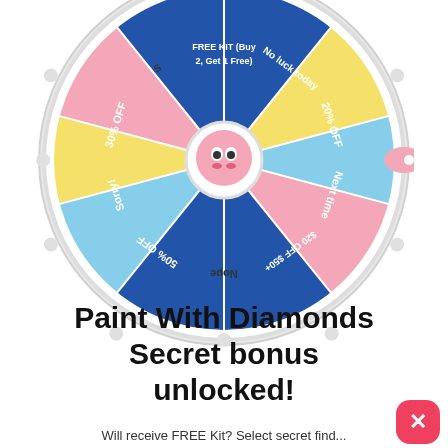[Figure (infographic): A prize spin wheel with segments labeled: 30% OFF, Sorry!, 50% OFF, Nope, $20 OFF $50+, Next time, 20% OFF, No luck today, FREE KIT (Buy 2 Get 1 Free), and other partially visible segments. A pink cartoon mascot is in the center hub. A pink arrow pointer is on the right side.]
Paint With Diamonds Secret bonus unlocked!
Will receive FREE Kit? Select secret find...